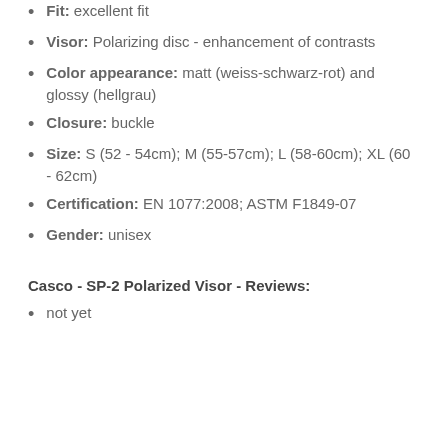Fit: excellent fit
Visor: Polarizing disc - enhancement of contrasts
Color appearance: matt (weiss-schwarz-rot) and glossy (hellgrau)
Closure: buckle
Size: S (52 - 54cm); M (55-57cm); L (58-60cm); XL (60 - 62cm)
Certification: EN 1077:2008; ASTM F1849-07
Gender: unisex
Casco - SP-2 Polarized Visor - Reviews:
not yet